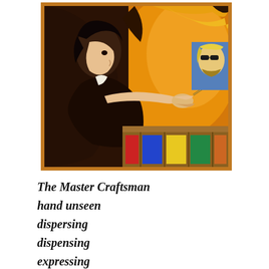[Figure (illustration): A stylized painting showing a dark-haired man in a suit leaning forward and painting with a fine brush, with a canvas showing a blond man with sunglasses in a colorful yellow and orange background, art supplies visible.]
The Master Craftsman
hand unseen
dispersing
dispensing
expressing
calling ... as behind a curtain
Yet known